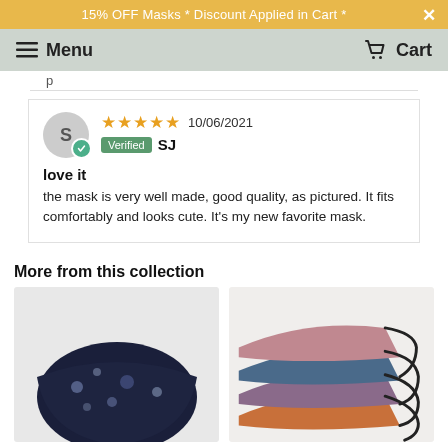15% OFF Masks * Discount Applied in Cart *
Menu  Cart
p
★★★★★ 10/06/2021 Verified SJ
love it
the mask is very well made, good quality, as pictured. It fits comfortably and looks cute. It's my new favorite mask.
More from this collection
[Figure (photo): A dark navy fabric face mask with floral/botanical pattern]
[Figure (photo): A stacked set of face masks in various colors: pink, blue, purple, orange with black ear loops]